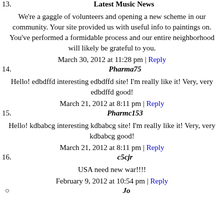Latest Music News
We're a gaggle of volunteers and opening a new scheme in our community. Your site provided us with useful info to paintings on. You've performed a formidable process and our entire neighborhood will likely be grateful to you.
March 30, 2012 at 11:28 pm | Reply
14. Pharma75
Hello! edbdffd interesting edbdffd site! I'm really like it! Very, very edbdffd good!
March 21, 2012 at 8:11 pm | Reply
15. Pharmc153
Hello! kdbabcg interesting kdbabcg site! I'm really like it! Very, very kdbabcg good!
March 21, 2012 at 8:11 pm | Reply
16. c5cjr
USA need new war!!!!
February 9, 2012 at 10:54 pm | Reply
Jo